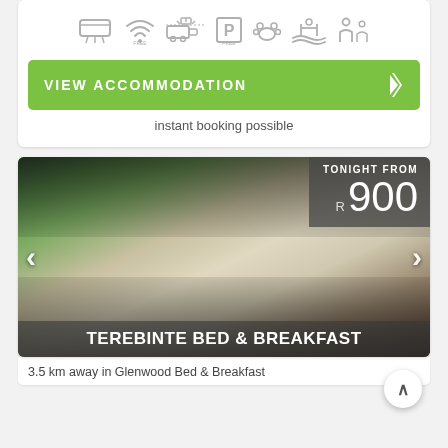[Figure (infographic): Row of amenity icons: air conditioning, free WiFi, airport shuttle, free parking, pets allowed, swimming pool, family facilities - all in grey]
VIEW ACCOMMODATION
instant booking possible
[Figure (photo): Exterior photo of Terebinte Bed & Breakfast showing a colorful street mural of a woman with a rose in her hair and the words 'LIFE IS BEAUTIFUL' painted on a white wall]
TONIGHT FROM R 900
TEREBINTE BED & BREAKFAST
3.5 km away in Glenwood Bed & Breakfast